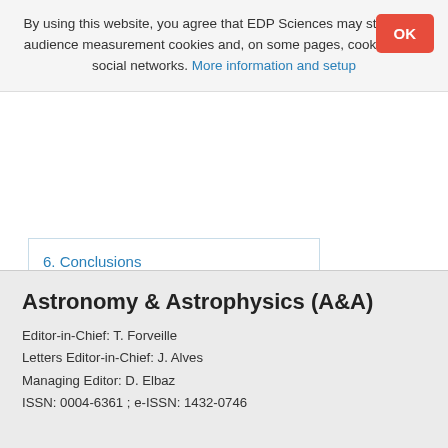By using this website, you agree that EDP Sciences may store web audience measurement cookies and, on some pages, cookies from social networks. More information and setup
6. Conclusions
Acknowledgments
References
List of tables
List of figures
Astronomy & Astrophysics (A&A)
Editor-in-Chief: T. Forveille
Letters Editor-in-Chief: J. Alves
Managing Editor: D. Elbaz
ISSN: 0004-6361 ; e-ISSN: 1432-0746